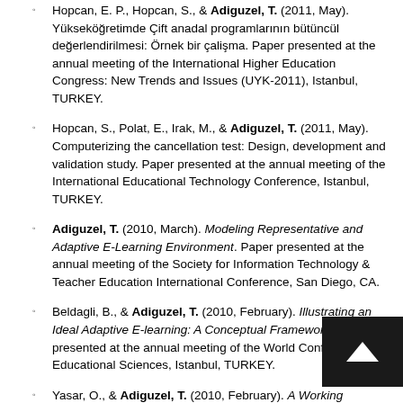Hopcan, E. P., Hopcan, S., & Adiguzel, T. (2011, May). Yükseköğretimde Çift anadal programlarının bütüncül değerlendirilmesi: Örnek bir çalişma. Paper presented at the annual meeting of the International Higher Education Congress: New Trends and Issues (UYK-2011), Istanbul, TURKEY.
Hopcan, S., Polat, E., Irak, M., & Adiguzel, T. (2011, May). Computerizing the cancellation test: Design, development and validation study. Paper presented at the annual meeting of the International Educational Technology Conference, Istanbul, TURKEY.
Adiguzel, T. (2010, March). Modeling Representative and Adaptive E-Learning Environment. Paper presented at the annual meeting of the Society for Information Technology & Teacher Education International Conference, San Diego, CA.
Beldagli, B., & Adiguzel, T. (2010, February). Illustrating an Ideal Adaptive E-learning: A Conceptual Framework. Paper presented at the annual meeting of the World Conference on Educational Sciences, Istanbul, TURKEY.
Yasar, O., & Adiguzel, T. (2010, February). A Working Successor of Learning Management Systems: Sloodle. Paper presented at the annual meeting of the World Conference on Educational Sciences, Istanbul, TURKEY.